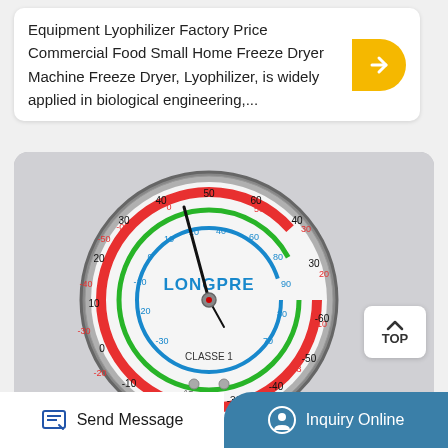Equipment Lyophilizer Factory Price Commercial Food Small Home Freeze Dryer Machine Freeze Dryer, Lyophilizer, is widely applied in biological engineering,...
[Figure (photo): Close-up photo of a pressure/refrigerant gauge labeled CLASSE 1 and LONGPRE brand, showing multiple colored scale rings (red, green, blue) with readings for MPa, °C, R134a, R407C. The gauge needle points approximately to 40-50 on the scale.]
TOP
Send Message
Inquiry Online